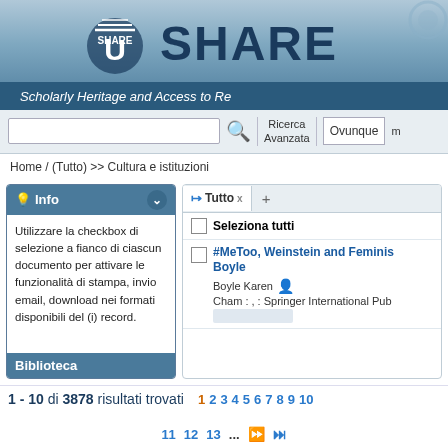[Figure (screenshot): SHARE-U university library portal logo and header banner with logo and title text]
Scholarly Heritage and Access to Re
Ricerca Avanzata  Ovunque
Home /  (Tutto) >> Cultura e istituzioni
Info
Utilizzare la checkbox di selezione a fianco di ciascun documento per attivare le funzionalità di stampa, invio email, download nei formati disponibili del (i) record.
Biblioteca
Seleziona tutti
#MeToo, Weinstein and Feminis Boyle
Boyle Karen
Cham : , : Springer International Pub
1 - 10 di 3878 risultati trovati   1 2 3 4 5 6 7 8 9 10
11 12 13 ...